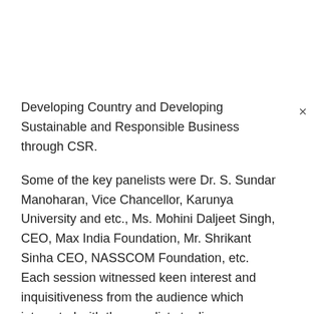Developing Country and Developing Sustainable and Responsible Business through CSR.
Some of the key panelists were Dr. S. Sundar Manoharan, Vice Chancellor, Karunya University and etc., Ms. Mohini Daljeet Singh, CEO, Max India Foundation, Mr. Shrikant Sinha CEO, NASSCOM Foundation, etc. Each session witnessed keen interest and inquisitiveness from the audience which interacted with the panelists to discuss opportunities of arriving at sustainable and replicable solutions. The award categories included awards like CSR Company of the Year, CSR Leader of the Year, CSR Practice of the Year, etc. For the awards ceremony, over 200 delegates both local and international were present including some of the region's most established organizations.
Winners from different categories who were awarded for the